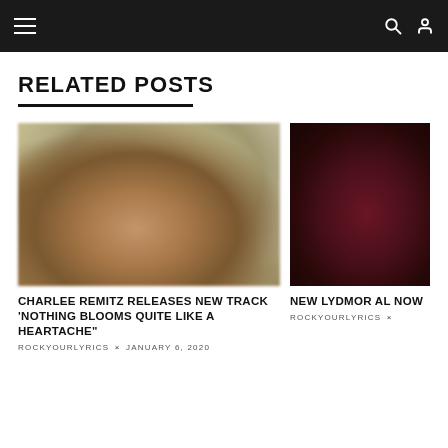Navigation bar with hamburger menu, search and user icons
RELATED POSTS
[Figure (photo): Blurred bokeh photo of a woman with dark curly hair in a light pink outfit against an out-of-focus golden/green background]
CHARLEE REMITZ RELEASES NEW TRACK 'NOTHING BLOOMS QUITE LIKE A HEARTACHE"
ROCKYOURLYRICS × JANUARY 6, 2020
[Figure (photo): Dark atmospheric photo of a person lit with red/magenta light against a very dark background]
NEW LYDMOR AL NOW
ROCKYOURLYRICS ×